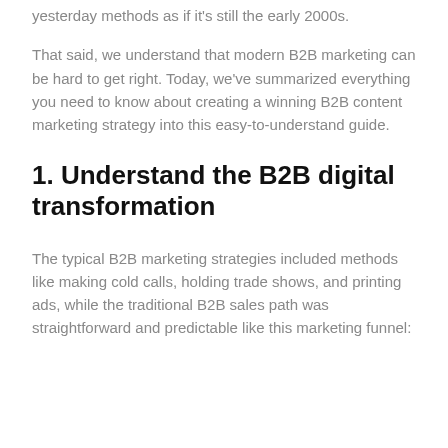yesterday methods as if it's still the early 2000s.
That said, we understand that modern B2B marketing can be hard to get right. Today, we've summarized everything you need to know about creating a winning B2B content marketing strategy into this easy-to-understand guide.
1. Understand the B2B digital transformation
The typical B2B marketing strategies included methods like making cold calls, holding trade shows, and printing ads, while the traditional B2B sales path was straightforward and predictable like this marketing funnel: